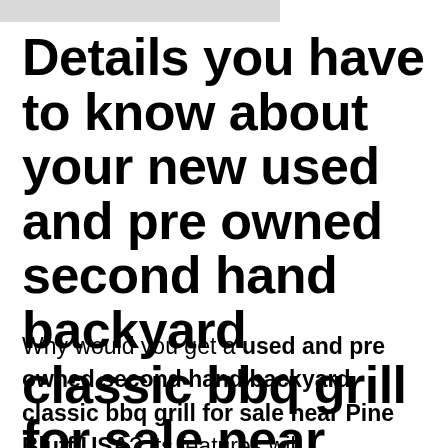Details you have to know about your new used and pre owned second hand backyard classic bbq grill for sale near Pine Bluff USA.
Why would you get a used and pre owned second hand backyard classic bbq grill for sale near Pine Bluff USA? Its features will